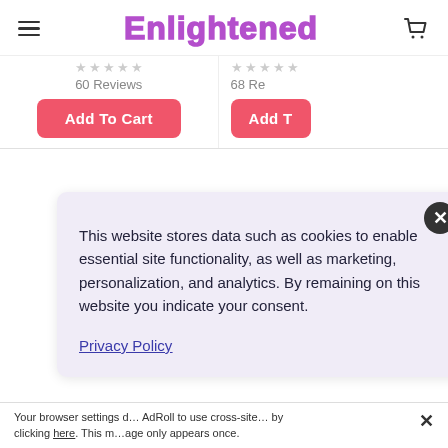Enlightened
60 Reviews
68 Re
Add To Cart
Add T
This website stores data such as cookies to enable essential site functionality, as well as marketing, personalization, and analytics. By remaining on this website you indicate your consent.
Privacy Policy
Your browser settings d… AdRoll to use cross-site… by clicking here. This m…age only appears once.